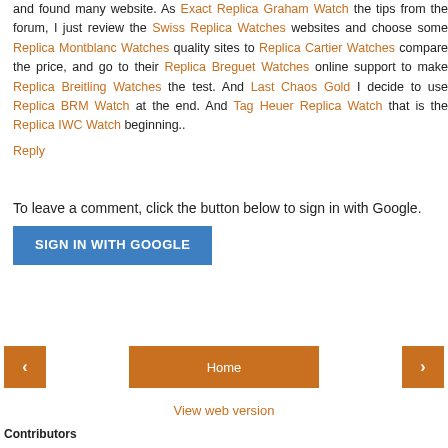and found many website. As Exact Replica Graham Watch the tips from the forum, I just review the Swiss Replica Watches websites and choose some Replica Montblanc Watches quality sites to Replica Cartier Watches compare the price, and go to their Replica Breguet Watches online support to make Replica Breitling Watches the test. And Last Chaos Gold I decide to use Replica BRM Watch at the end. And Tag Heuer Replica Watch that is the Replica IWC Watch beginning..
Reply
To leave a comment, click the button below to sign in with Google.
SIGN IN WITH GOOGLE
Home
View web version
Contributors